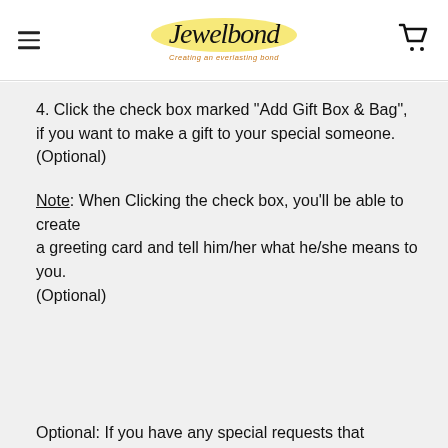Jewelbond — Creating an everlasting bond
4. Click the check box marked "Add Gift Box & Bag",
if you want to make a gift to your special someone.
(Optional)
Note: When Clicking the check box, you'll be able to create
a greeting card and tell him/her what he/she means to you.
(Optional)
Optional: If you have any special requests that